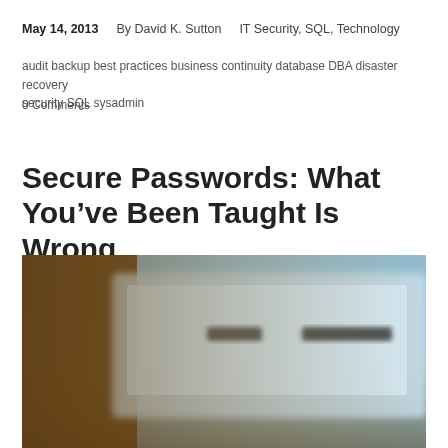May 14, 2013   By David K. Sutton   IT Security, SQL, Technology
audit backup best practices business continuity database DBA disaster recovery security SQL sysadmin
0 Comments
Secure Passwords: What You’ve Been Taught Is Wrong
[Figure (photo): Blurry close-up photo of a laptop or tablet device showing a login/password screen with dark text fields on a light blue background, with warm brown tones at the edges]